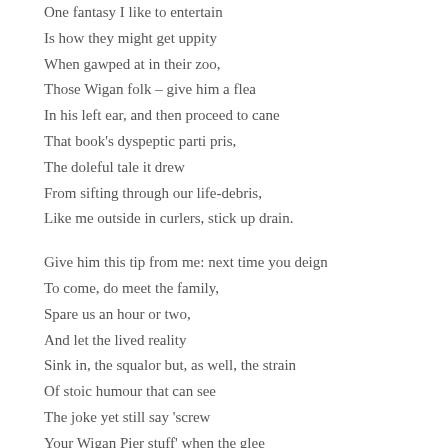One fantasy I like to entertain
Is how they might get uppity
When gawped at in their zoo,
Those Wigan folk – give him a flea
In his left ear, and then proceed to cane
That book's dyspeptic parti pris,
The doleful tale it drew
From sifting through our life-debris,
Like me outside in curlers, stick up drain.
Give him this tip from me: next time you deign
To come, do meet the family,
Spare us an hour or two,
And let the lived reality
Sink in, the squalor but, as well, the strain
Of stoic humour that can see
The joke yet still say 'screw
Your Wigan Pier stuff' when the glee
Proclaims 'down south' the jester's home domain.
Please know your nitty-gritty leaves a stain
Of patronage on all that we
Drain-pokers might accrue